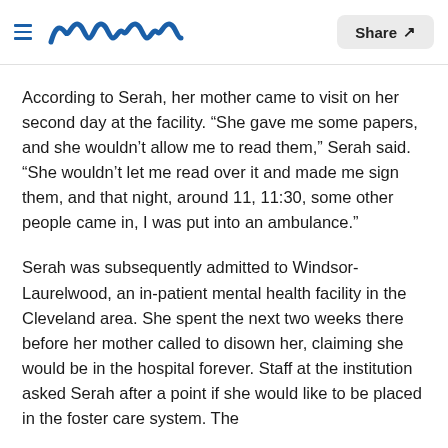meaww | Share
According to Serah, her mother came to visit on her second day at the facility. “She gave me some papers, and she wouldn’t allow me to read them,” Serah said. “She wouldn’t let me read over it and made me sign them, and that night, around 11, 11:30, some other people came in, I was put into an ambulance.”
Serah was subsequently admitted to Windsor-Laurelwood, an in-patient mental health facility in the Cleveland area. She spent the next two weeks there before her mother called to disown her, claiming she would be in the hospital forever. Staff at the institution asked Serah after a point if she would like to be placed in the foster care system. The